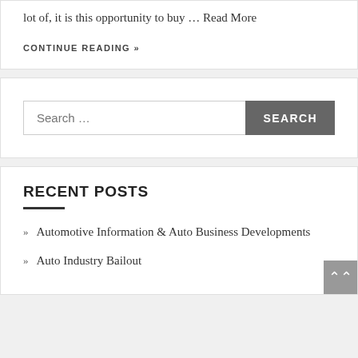lot of, it is this opportunity to buy … Read More
CONTINUE READING »
Search …
RECENT POSTS
Automotive Information & Auto Business Developments
Auto Industry Bailout